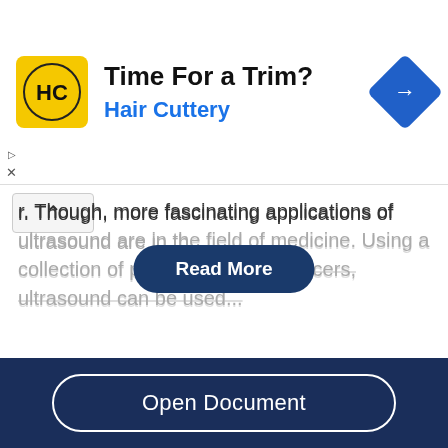[Figure (other): Hair Cuttery advertisement banner with yellow logo showing HC initials, text 'Time For a Trim?' and 'Hair Cuttery', blue diamond arrow icon on right]
r. Though, more fascinating applications of ultrasound are in the field of medicine. Using a collection of piezoelectric transducers, ultrasound can be used...
Immanuel Kant's Theory Of Aesthetics
Open Document